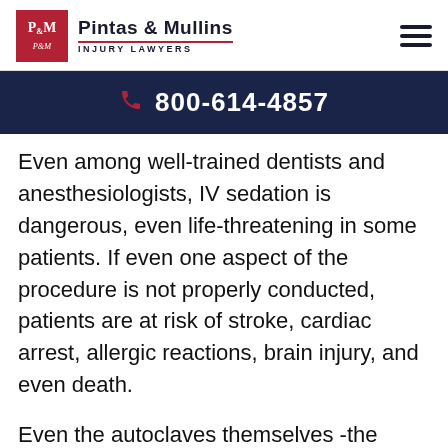Pintas & Mullins INJURY LAWYERS
800-614-4857
Even among well-trained dentists and anesthesiologists, IV sedation is dangerous, even life-threatening in some patients. If even one aspect of the procedure is not properly conducted, patients are at risk of stroke, cardiac arrest, allergic reactions, brain injury, and even death.
Even the autoclaves themselves -the device used to sterilize tools – were not being used properly. Testing and cleaning to ensure the device was working properly is supposed to be performed at